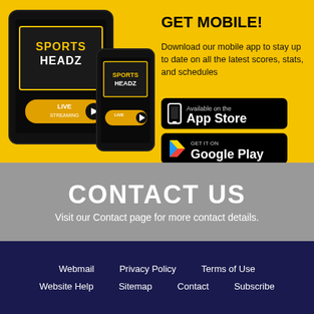[Figure (illustration): Tablet and smartphone devices showing Sports Headz app with LIVE streaming branding, on yellow background]
GET MOBILE!
Download our mobile app to stay up to date on all the latest scores, stats, and schedules
[Figure (logo): Available on the App Store badge (black)]
[Figure (logo): GET IT ON Google Play badge (black)]
CONTACT US
Visit our Contact page for more contact details.
Webmail   Privacy Policy   Terms of Use   Website Help   Sitemap   Contact   Subscribe